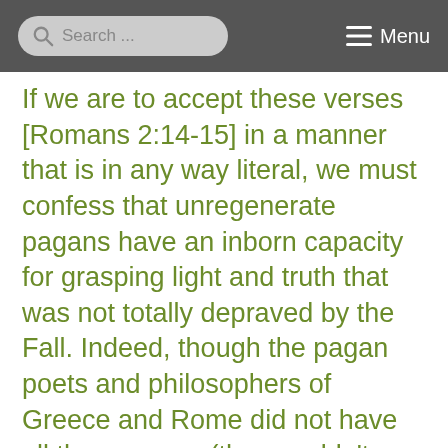Search ... Menu
If we are to accept these verses [Romans 2:14-15] in a manner that is in any way literal, we must confess that unregenerate pagans have an inborn capacity for grasping light and truth that was not totally depraved by the Fall. Indeed, though the pagan poets and philosophers of Greece and Rome did not have all the answers (they couldn’t, as they lacked the special revelation found only in Jesus), they knew how to ask the right questions—questions that